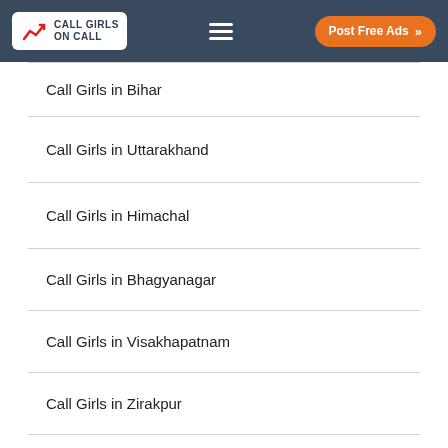CALL GIRLS ON CALL | Post Free Ads
Call Girls in Bihar
Call Girls in Uttarakhand
Call Girls in Himachal
Call Girls in Bhagyanagar
Call Girls in Visakhapatnam
Call Girls in Zirakpur
© 2018 www.callgirlsoncall.com. All Rights Reserved